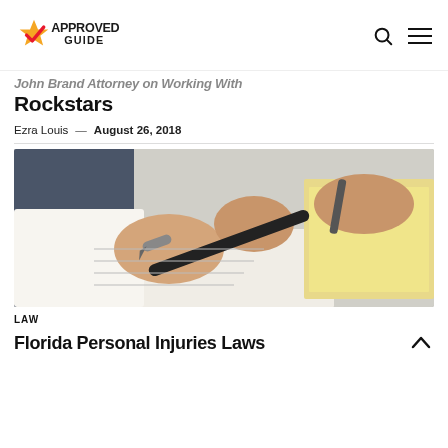Approved Guide
John Brand Attorney on Working With Rockstars
Ezra Louis — August 26, 2018
[Figure (photo): Close-up photo of hands in business attire signing or writing a document with a pen, with papers and a notepad visible in the background.]
LAW
Florida Personal Injuries Laws